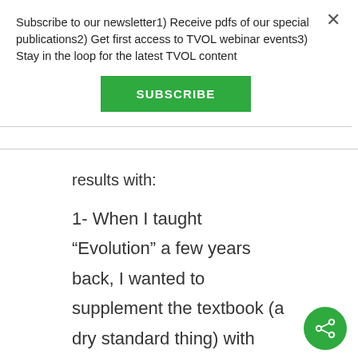Subscribe to our newsletter1) Receive pdfs of our special publications2) Get first access to TVOL webinar events3) Stay in the loop for the latest TVOL content
SUBSCRIBE
results with:
1- When I taught “Evolution” a few years back, I wanted to supplement the textbook (a dry standard thing) with something more engaging.